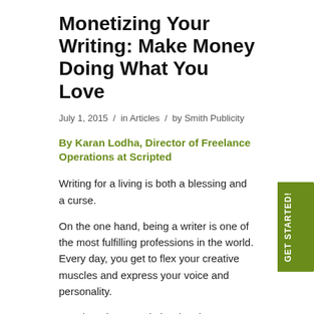Monetizing Your Writing: Make Money Doing What You Love
July 1, 2015 / in Articles / by Smith Publicity
By Karan Lodha, Director of Freelance Operations at Scripted
Writing for a living is both a blessing and a curse.
On the one hand, being a writer is one of the most fulfilling professions in the world. Every day, you get to flex your creative muscles and express your voice and personality.
Yet, there is a certain burden that comes with being a full-time writer. Unlike those people who have a job with a set routine and a fixed schedule, writing for a living means constantly thinking about how to monetize your craft. If you're not a salaried writer on staff for a newspaper, magazine, or website, you are likely generating income